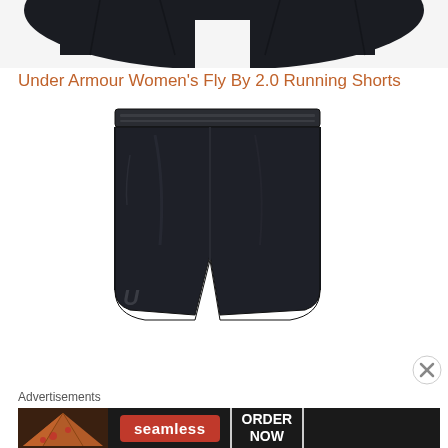[Figure (photo): Partial top image of black shorts or clothing item cropped at the top of the page]
Under Armour Women's Fly By 2.0 Running Shorts
[Figure (photo): Black Under Armour athletic shorts with elastic waistband and UA logo on left leg, displayed on white background]
Advertisements
[Figure (photo): Advertisement banner for Seamless food delivery showing pizza image on left, red Seamless logo badge in center, and ORDER NOW button on right, on dark background]